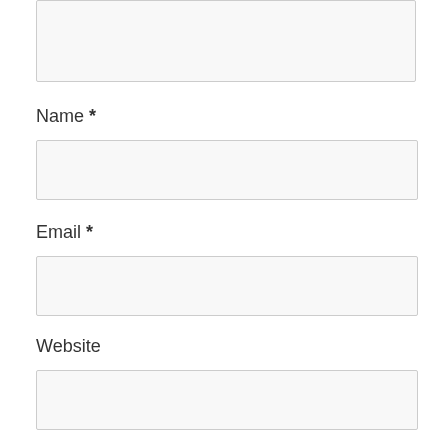[Figure (other): Partial textarea input box at top of page (cut off)]
Name *
[Figure (other): Name text input field]
Email *
[Figure (other): Email text input field]
Website
[Figure (other): Website text input field]
Save my name, email, and website in this browser for
Notify me of follow-up comments by email.